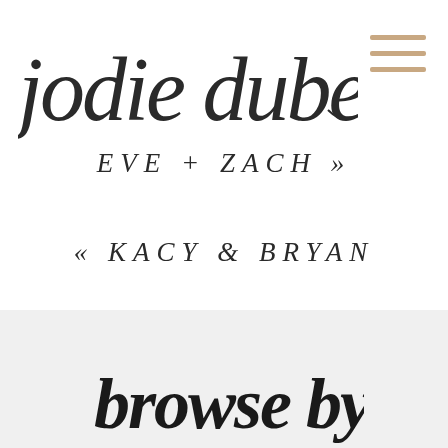[Figure (logo): Handwritten script logo reading 'jodie dubs' in cursive black ink]
[Figure (illustration): Hamburger menu icon with three horizontal lines in beige/tan color]
EVE + ZACH »
« KACY & BRYAN
browse by